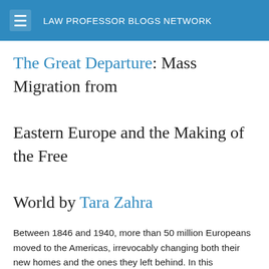LAW PROFESSOR BLOGS NETWORK
The Great Departure: Mass Migration from Eastern Europe and the Making of the Free World by Tara Zahra
Between 1846 and 1940, more than 50 million Europeans moved to the Americas, irrevocably changing both their new homes and the ones they left behind. In this groundbreaking study, Tara Zahra explores the deeper story of this astonishing movement of people—one of the largest in human history.
The great exodus out of Eastern Europe hollowed out villages with dizzying speed. As villages emptied and the fear of depopulation ran rampant, anxiety